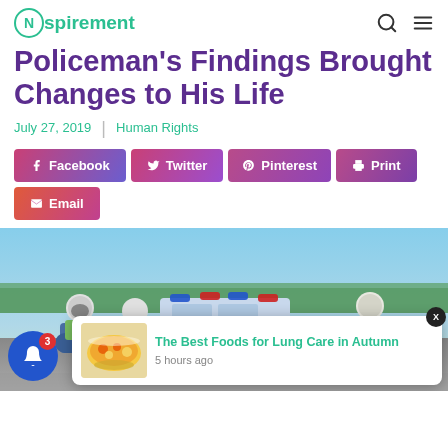Nspirement
Policeman's Findings Brought Changes to His Life
July 27, 2019 | Human Rights
Facebook Twitter Pinterest Print Email
[Figure (photo): Police motorcade scene with officers on motorcycles and a police car, with an overlay popup card showing 'The Best Foods for Lung Care in Autumn, 5 hours ago']